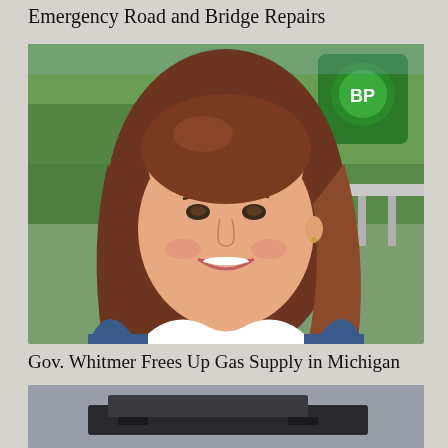Emergency Road and Bridge Repairs
[Figure (photo): Photo of Gov. Whitmer smiling, wearing a blue jacket and white top, standing in front of a BP gas station with green trees in background]
Gov. Whitmer Frees Up Gas Supply in Michigan
[Figure (photo): Partial photo of a dark object, possibly a vehicle or piece of equipment, against a grey sky background]